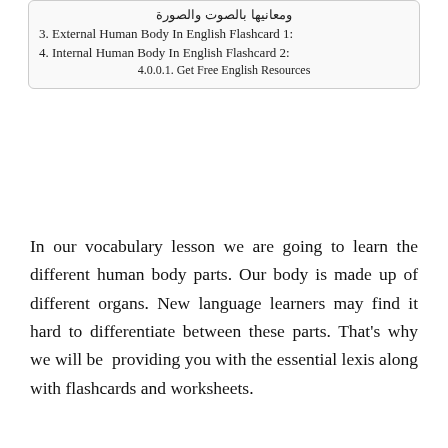ومعانيها بالصوت والصورة
3. External Human Body In English Flashcard 1:
4. Internal Human Body In English Flashcard 2:
4.0.0.1. Get Free English Resources
In our vocabulary lesson we are going to learn the different human body parts. Our body is made up of different organs. New language learners may find it hard to differentiate between these parts. That's why we will be  providing you with the essential lexis along with flashcards and worksheets.